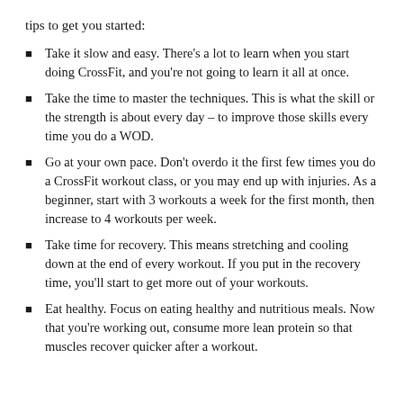tips to get you started:
Take it slow and easy. There's a lot to learn when you start doing CrossFit, and you're not going to learn it all at once.
Take the time to master the techniques. This is what the skill or the strength is about every day – to improve those skills every time you do a WOD.
Go at your own pace. Don't overdo it the first few times you do a CrossFit workout class, or you may end up with injuries. As a beginner, start with 3 workouts a week for the first month, then increase to 4 workouts per week.
Take time for recovery. This means stretching and cooling down at the end of every workout. If you put in the recovery time, you'll start to get more out of your workouts.
Eat healthy. Focus on eating healthy and nutritious meals. Now that you're working out, consume more lean protein so that muscles recover quicker after a workout.